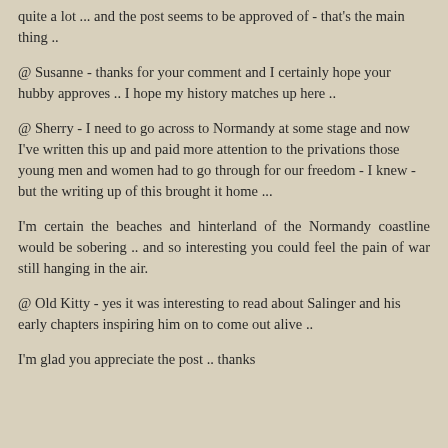quite a lot ... and the post seems to be approved of - that's the main thing ..
@ Susanne - thanks for your comment and I certainly hope your hubby approves .. I hope my history matches up here ..
@ Sherry - I need to go across to Normandy at some stage and now I've written this up and paid more attention to the privations those young men and women had to go through for our freedom - I knew - but the writing up of this brought it home ...
I'm certain the beaches and hinterland of the Normandy coastline would be sobering .. and so interesting you could feel the pain of war still hanging in the air.
@ Old Kitty - yes it was interesting to read about Salinger and his early chapters inspiring him on to come out alive ..
I'm glad you appreciate the post .. thanks